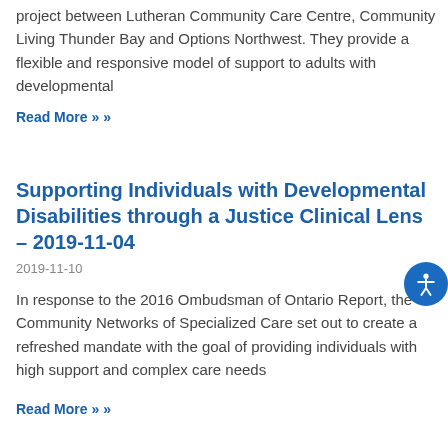project between Lutheran Community Care Centre, Community Living Thunder Bay and Options Northwest. They provide a flexible and responsive model of support to adults with developmental
Read More »
Supporting Individuals with Developmental Disabilities through a Justice Clinical Lens – 2019-11-04
2019-11-10
In response to the 2016 Ombudsman of Ontario Report, the Community Networks of Specialized Care set out to create a refreshed mandate with the goal of providing individuals with high support and complex care needs
Read More »
Developmental Disabilities in the Justice System